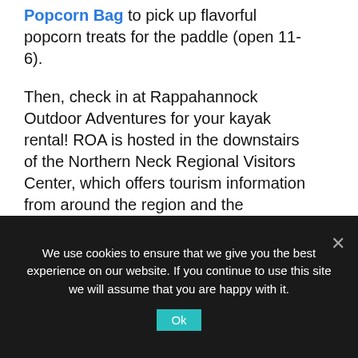Popcorn Bag to pick up flavorful popcorn treats for the paddle (open 11-6).
Then, check in at Rappahannock Outdoor Adventures for your kayak rental! ROA is hosted in the downstairs of the Northern Neck Regional Visitors Center, which offers tourism information from around the region and the Commonwealth. ROA staff will check you in, then help you get situated in the shuttle before departure.
[Figure (photo): Partial view of a light blue sky with dark branches/twigs silhouetted, and a small bird figure visible. Bottom portion of an outdoor nature image.]
We use cookies to ensure that we give you the best experience on our website. If you continue to use this site we will assume that you are happy with it.